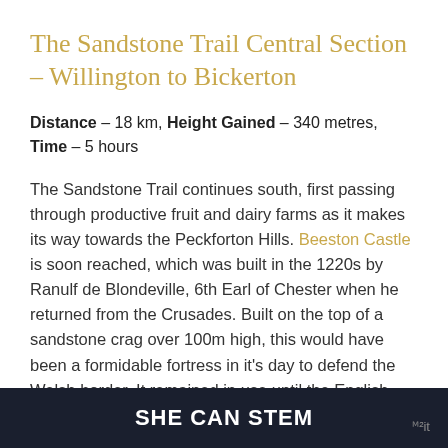The Sandstone Trail Central Section – Willington to Bickerton
Distance – 18 km, Height Gained – 340 metres, Time – 5 hours
The Sandstone Trail continues south, first passing through productive fruit and dairy farms as it makes its way towards the Peckforton Hills. Beeston Castle is soon reached, which was built in the 1220s by Ranulf de Blondeville, 6th Earl of Chester when he returned from the Crusades. Built on the top of a sandstone crag over 100m high, this would have been a formidable fortress in it's day to defend the Welsh border. It remained in use until the English
SHE CAN STEM